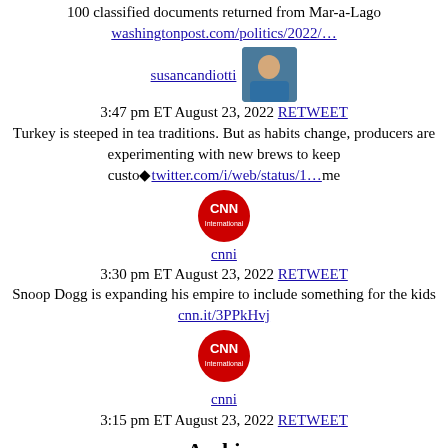100 classified documents returned from Mar-a-Lago washingtonpost.com/politics/2022/…
susancandiotti 3:47 pm ET August 23, 2022 RETWEET Turkey is steeped in tea traditions. But as habits change, producers are experimenting with new brews to keep custo🔷twitter.com/i/web/status/1…me
cnni 3:30 pm ET August 23, 2022 RETWEET Snoop Dogg is expanding his empire to include something for the kids cnn.it/3PPkHvj
cnni 3:15 pm ET August 23, 2022 RETWEET
Archive
| M | T | W | T | F | S | S |
| --- | --- | --- | --- | --- | --- | --- |
|  |  | 1 | 2 | 3 | 4 | 5 |
| 6 | 7 | 8 | 9 | 10 | 11 | 12 |
| 13 | 14 | 15 | 16 | 17 | 18 | 19 |